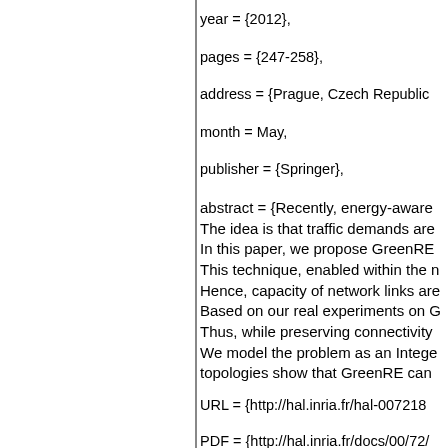year = {2012},
pages = {247-258},
address = {Prague, Czech Republic},
month = May,
publisher = {Springer},
abstract = {Recently, energy-aware The idea is that traffic demands are In this paper, we propose GreenRE This technique, enabled within the r Hence, capacity of network links are Based on our real experiments on G Thus, while preserving connectivity We model the problem as an Intege topologies show that GreenRE can
URL = {http://hal.inria.fr/hal-007218
PDF = {http://hal.inria.fr/docs/00/72/